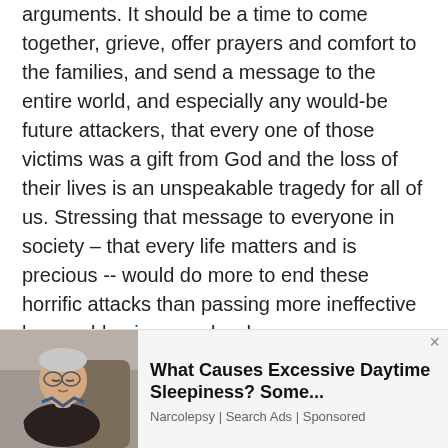arguments. It should be a time to come together, grieve, offer prayers and comfort to the families, and send a message to the entire world, and especially any would-be future attackers, that every one of those victims was a gift from God and the loss of their lives is an unspeakable tragedy for all of us. Stressing that message to everyone in society – that every life matters and is precious -- would do more to end these horrific attacks than passing more ineffective laws or blaming people who
[Figure (photo): Advertisement showing an elderly man sleeping/drowsy in a chair, next to ad text about excessive daytime sleepiness]
What Causes Excessive Daytime Sleepiness? Some...
Narcolepsy | Search Ads | Sponsored